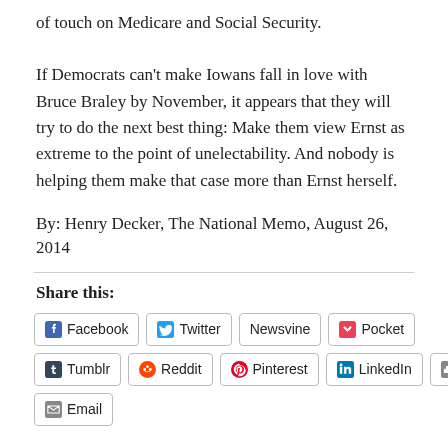of touch on Medicare and Social Security.
If Democrats can't make Iowans fall in love with Bruce Braley by November, it appears that they will try to do the next best thing: Make them view Ernst as extreme to the point of unelectability. And nobody is helping them make that case more than Ernst herself.
By: Henry Decker, The National Memo, August 26, 2014
Share this:
Facebook Twitter Newsvine Pocket Tumblr Reddit Pinterest LinkedIn Print Email